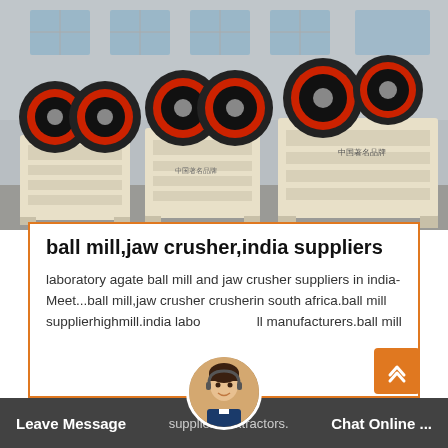[Figure (photo): Photo of multiple jaw crusher machines lined up in a factory yard. Machines are cream/beige colored with large black and red flywheel discs. Chinese text visible on machines reading 中国著名品牌. Industrial building with metal cladding in background.]
ball mill,jaw crusher,india suppliers
laboratory agate ball mill and jaw crusher suppliers in india-Meet...ball mill,jaw crusher crusherin south africa.ball mill supplierhighmill.india labo manufacturers.ball mill suppliers extractors.
Leave Message   Chat Online ...